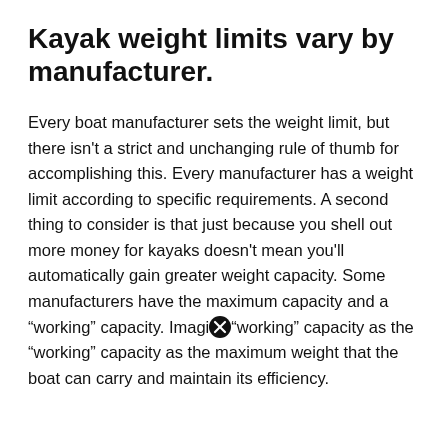Kayak weight limits vary by manufacturer.
Every boat manufacturer sets the weight limit, but there isn't a strict and unchanging rule of thumb for accomplishing this. Every manufacturer has a weight limit according to specific requirements. A second thing to consider is that just because you shell out more money for kayaks doesn't mean you'll automatically gain greater weight capacity. Some manufacturers have the maximum capacity and a “working” capacity. Imagine “working” capacity as the “working” capacity as the maximum weight that the boat can carry and maintain its efficiency.